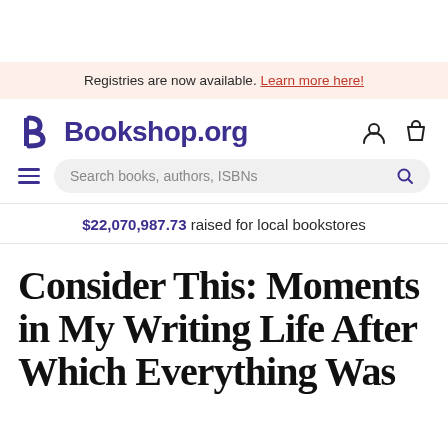Registries are now available. Learn more here!
Bookshop.org
Search books, authors, ISBNs
$22,070,987.73 raised for local bookstores
Consider This: Moments in My Writing Life After Which Everything Was